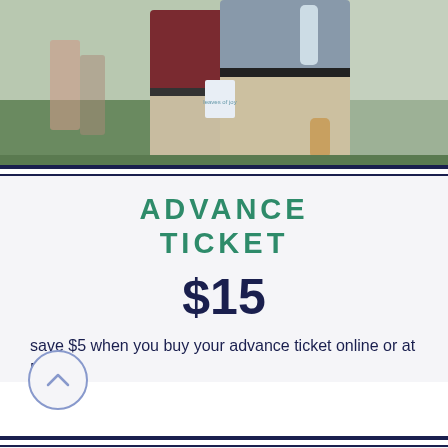[Figure (photo): Outdoor event photo showing people standing, one in maroon shirt and khaki pants, another in a blue-gray top and khaki trousers, holding drinks at a garden or lawn gathering.]
ADVANCE TICKET
$15
save $5 when you buy your advance ticket online or at Petals
AT THE GATE